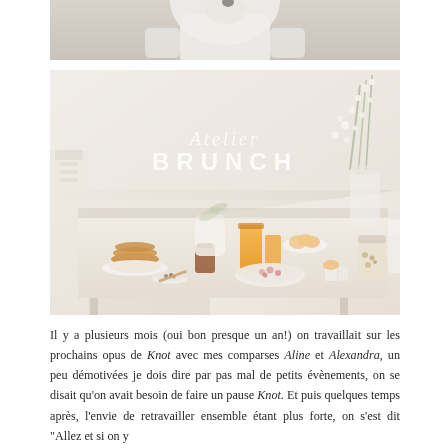[Figure (photo): Top portion of a photo showing a person in a white shirt against a light grey background]
[Figure (photo): Bright, airy brunch table scene with pancakes, orange juice, flowers, bowls, and various breakfast items on a white linen-covered table. Text overlay reads 'Atelier BRUNCH' in script and bold uppercase letters.]
Il y a plusieurs mois (oui bon presque un an!) on travaillait sur les prochains opus de Knot avec mes comparses Aline et Alexandra, un peu démotivées je dois dire par pas mal de petits évènements, on se disait qu'on avait besoin de faire un pause Knot. Et puis quelques temps après, l'envie de retravailler ensemble étant plus forte, on s'est dit "Allez et si on y